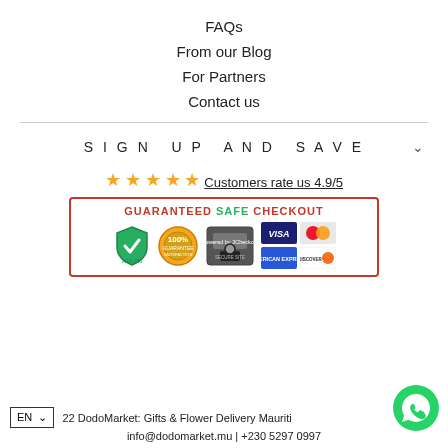FAQs
From our Blog
For Partners
Contact us
SIGN UP AND SAVE
★★★★★ Customers rate us 4.9/5
[Figure (infographic): Guaranteed Safe Checkout badge with green shield, 100% guarantee seal, 2Checkout secure lock, Visa, Mastercard, Amex, Discover card logos]
EN  22 DodoMarket: Gifts & Flower Delivery Mauritius
info@dodomarket.mu | +230 5297 0997